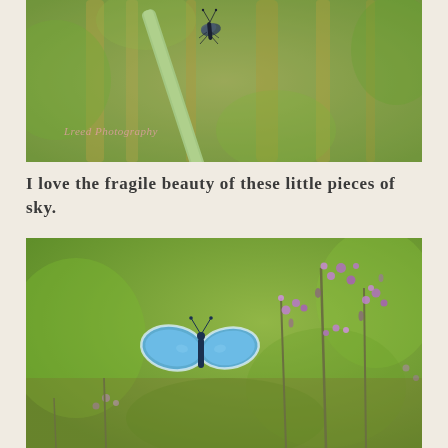[Figure (photo): Close-up macro photograph of a small butterfly perched on a pale green grass blade or stem. The butterfly appears dark/blue-grey with closed wings. Background is blurred bokeh of green and golden straw-colored grasses. A watermark in pink/salmon script reads 'Lreed Photography' in the lower left corner.]
I love the fragile beauty of these little pieces of sky.
[Figure (photo): Nature photograph of a small bright blue butterfly (Common Blue or similar species) perched on purple wildflowers/heather. The butterfly has its wings open showing vivid sky-blue color with white edges. Background is a soft bokeh of green foliage and more purple flowers.]